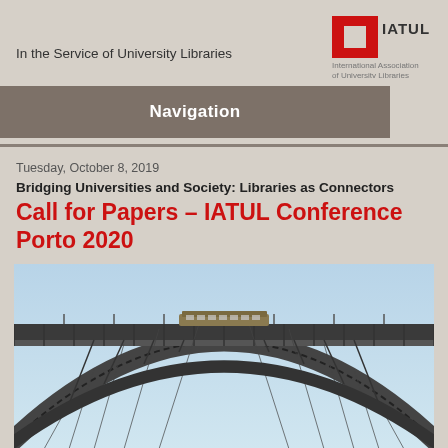In the Service of University Libraries
[Figure (logo): IATUL logo — red and grey square bracket icon with IATUL text, tagline: International Association of University Libraries]
Navigation
Tuesday, October 8, 2019
Bridging Universities and Society: Libraries as Connectors
Call for Papers – IATUL Conference Porto 2020
[Figure (photo): Photo of a large iron arch bridge (Dom Luís I Bridge style, Porto) with a train on top, blue sky background]